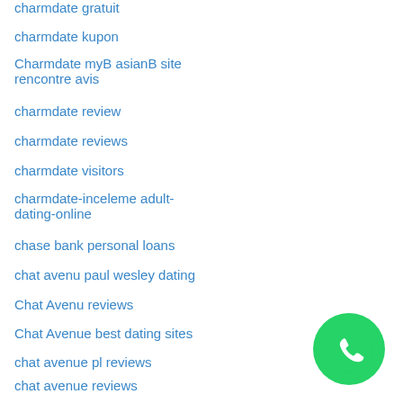charmdate gratuit
charmdate kupon
Charmdate myB asianB site rencontre avis
charmdate review
charmdate reviews
charmdate visitors
charmdate-inceleme adult-dating-online
chase bank personal loans
chat avenu paul wesley dating
Chat Avenu reviews
Chat Avenue best dating sites
chat avenue pl reviews
chat avenue reviews
chat avenue sign in
[Figure (logo): WhatsApp green circular button with phone handset icon]